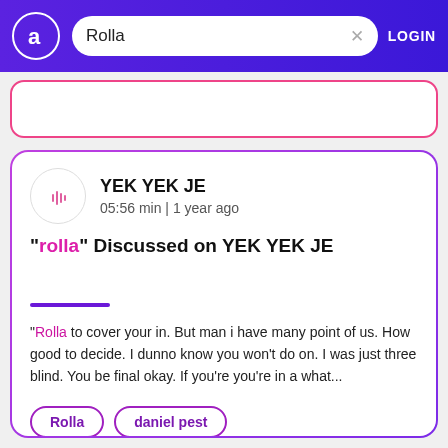Rolla — LOGIN
[Figure (screenshot): Partial search result card at top with pink border]
YEK YEK JE
05:56 min | 1 year ago
"rolla" Discussed on YEK YEK JE
"Rolla to cover your in. But man i have many point of us. How good to decide. I dunno know you won't do on. I was just three blind. You be final okay. If you're you're in a what...
Rolla
daniel pest